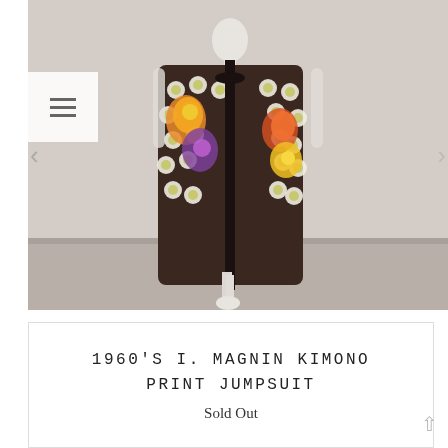[Figure (photo): A mannequin wearing a 1960s I. Magnin kimono print jumpsuit. The garment features a bold floral/fruit print with orange, yellow, purple and white flowers on a dark background, with black trim down the center front. The mannequin stands on a circular base against a beige/grey wall. Navigation arrows are visible on left and right sides, and a hamburger menu icon is in the upper left.]
1960'S I. MAGNIN KIMONO PRINT JUMPSUIT
Sold Out